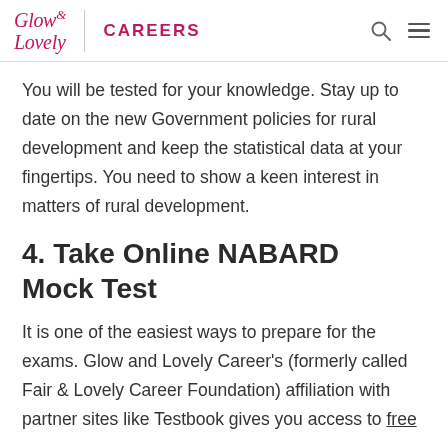Glow & Lovely CAREERS
You will be tested for your knowledge. Stay up to date on the new Government policies for rural development and keep the statistical data at your fingertips. You need to show a keen interest in matters of rural development.
4. Take Online NABARD Mock Test
It is one of the easiest ways to prepare for the exams. Glow and Lovely Career's (formerly called Fair & Lovely Career Foundation) affiliation with partner sites like Testbook gives you access to free